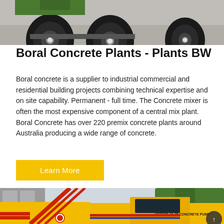[Figure (photo): Top portion of a concrete mixer truck / trailer showing large black rubber wheels and green/yellow machinery on gravel ground]
Boral Concrete Plants - Plants BW
Boral concrete is a supplier to industrial commercial and residential building projects combining technical expertise and on site capability. Permanent - full time. The Concrete mixer is often the most expensive component of a central mix plant. Boral Concrete has over 220 premix concrete plants around Australia producing a wide range of concrete.
Learn More
[Figure (photo): Yellow HBTS60-13-75 concrete pump truck parked outdoors with red diagonal boom/conveyor arm visible, labeled HBTS60-13-75 CONCRETE PUMP on the side]